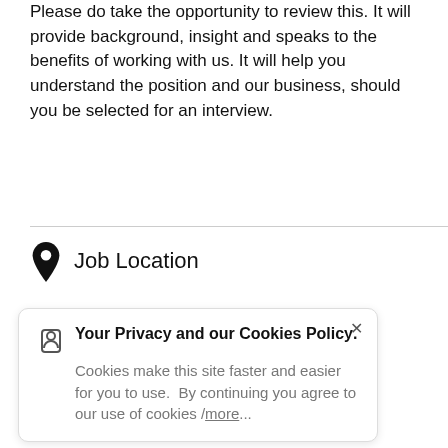Please do take the opportunity to review this. It will provide background, insight and speaks to the benefits of working with us. It will help you understand the position and our business, should you be selected for an interview.
Job Location
[Figure (screenshot): A blue 'View Map' button]
Your Privacy and our Cookies Policy. Cookies make this site faster and easier for you to use. By continuing you agree to our use of cookies /more...